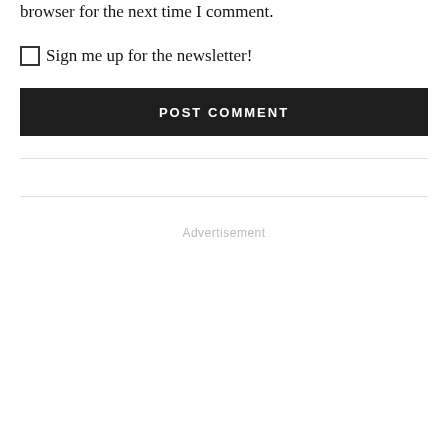browser for the next time I comment.
☐ Sign me up for the newsletter!
POST COMMENT
Advertisement